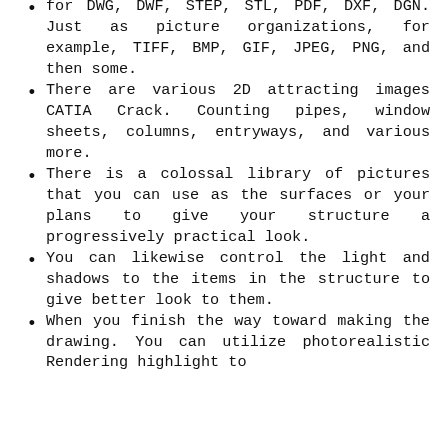for DWG, DWF, STEP, STL, PDF, DXF, DGN. Just as picture organizations, for example, TIFF, BMP, GIF, JPEG, PNG, and then some.
There are various 2D attracting images CATIA Crack. Counting pipes, window sheets, columns, entryways, and various more.
There is a colossal library of pictures that you can use as the surfaces or your plans to give your structure a progressively practical look.
You can likewise control the light and shadows to the items in the structure to give better look to them.
When you finish the way toward making the drawing. You can utilize photorealistic Rendering highlight to